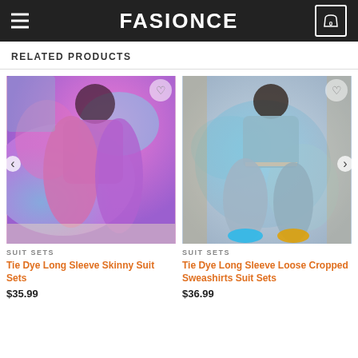FASIONCE
RELATED PRODUCTS
[Figure (photo): Woman wearing pink and blue tie-dye long sleeve skinny suit set, taking mirror selfie]
SUIT SETS
Tie Dye Long Sleeve Skinny Suit Sets
$35.99
[Figure (photo): Woman wearing grey and blue tie-dye long sleeve loose cropped sweatshirt suit set, standing outdoors]
SUIT SETS
Tie Dye Long Sleeve Loose Cropped Sweashirts Suit Sets
$36.99